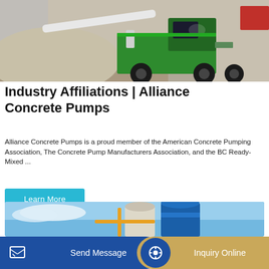[Figure (photo): A green concrete pump truck on a gravel/construction site with a white boom arm extended, outdoors.]
Industry Affiliations | Alliance Concrete Pumps
Alliance Concrete Pumps is a proud member of the American Concrete Pumping Association, The Concrete Pump Manufacturers Association, and the BC Ready-Mixed ...
Learn More
[Figure (photo): Blue and white industrial silos against a blue sky, construction plant setting.]
Send Message
Inquiry Online